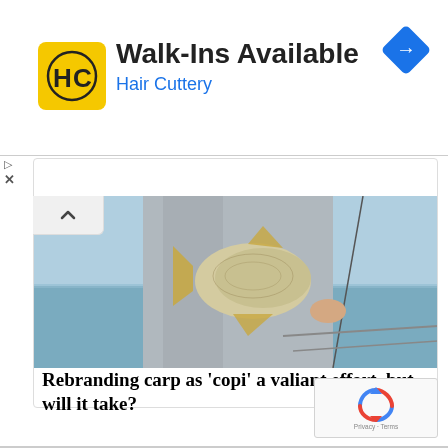[Figure (advertisement): Hair Cuttery ad banner with yellow HC logo, text 'Walk-Ins Available' and 'Hair Cuttery' in blue, and a blue navigation diamond icon on the right]
[Figure (photo): Person in a grey shirt holding a large fish (carp/drum) with ocean/lake water visible in the background]
Rebranding carp as 'copi' a valiant effort, but will it take?
[Figure (logo): Google reCAPTCHA widget with spinning arrows logo and 'Privacy - Terms' text]